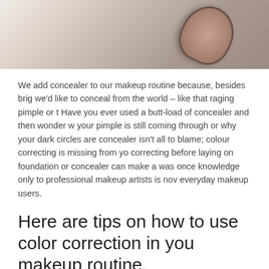[Figure (photo): Close-up photo of a hand holding a makeup compact or concealer product, with a blurred background]
We add concealer to our makeup routine because, besides brig we'd like to conceal from the world – like that raging pimple or t Have you ever used a butt-load of concealer and then wonder w your pimple is still coming through or why your dark circles are concealer isn't all to blame; colour correcting is missing from yo correcting before laying on foundation or concealer can make a was once knowledge only to professional makeup artists is nov everyday makeup users.
Here are tips on how to use color correction in you makeup routine.
Green. Green cancels out red. So whether it's acne, rosacea or a sunburn you're looking to hide, a green colour corrector will do the trick.
Purple. Purple combats dull, yellow skin...